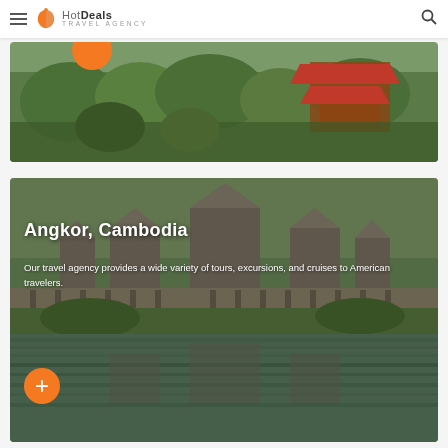Hot Deals Travel Agency
[Figure (photo): Aerial/landscape photo showing Japanese/Asian temple or pagoda with red roof amid green trees and cityscape in background, partially visible]
[Figure (photo): Photo of Angkor Wat temple complex in Cambodia reflected in water, with green vegetation and stone architecture]
Angkor, Cambodia
Our travel agency provides a wide variety of tours, excursions, and cruises to American travelers.